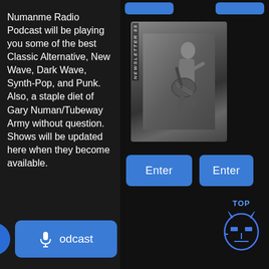Numanme Radio Podcast will be playing you some of the best Classic Alternative, New Wave, Dark Wave, Synth-Pop, and Punk. Also, a staple diet of Gary Numan/Tubeway Army without question. Shows will be updated here when they become available.
[Figure (screenshot): Top button stubs on right panel (partially visible blue buttons)]
[Figure (photo): Newsletter 55 cover image showing a guitarist performing, black and white photo with vertical text 'NEWSLETTER 55' on left side]
[Figure (screenshot): Two blue Enter buttons side by side]
[Figure (screenshot): Podcast button with microphone icon and menu circle hamburger icon, labeled 'odcast']
[Figure (illustration): Blue face/mask icon with 'TOP' text above it, Gary Numan themed logo in bottom right corner]